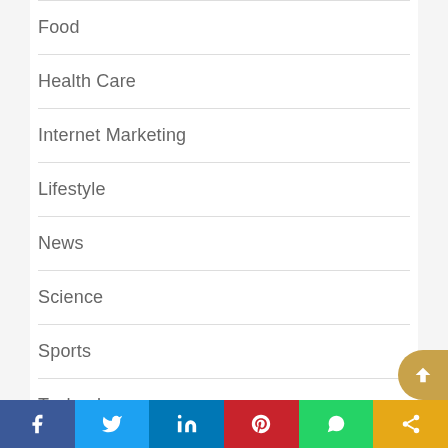Food
Health Care
Internet Marketing
Lifestyle
News
Science
Sports
Technology
[Figure (infographic): Social media share bar at bottom with Facebook, Twitter, LinkedIn, Pinterest, WhatsApp, and share icons]